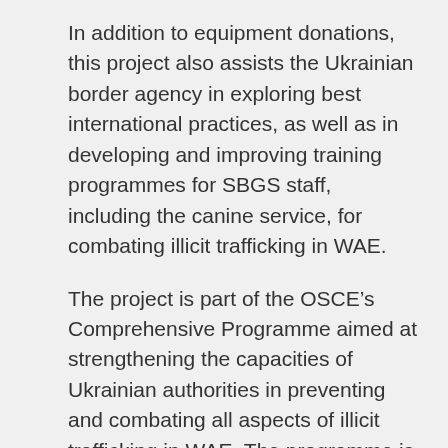In addition to equipment donations, this project also assists the Ukrainian border agency in exploring best international practices, as well as in developing and improving training programmes for SBGS staff, including the canine service, for combating illicit trafficking in WAE.
The project is part of the OSCE’s Comprehensive Programme aimed at strengthening the capacities of Ukrainian authorities in preventing and combating all aspects of illicit trafficking in WAE. The programme is financed and supported by in-kind contributions by the European Union, France, Germany, Lithuania, the Netherlands, Norway, Poland, Slovakia, and the United States of America.
Share this: